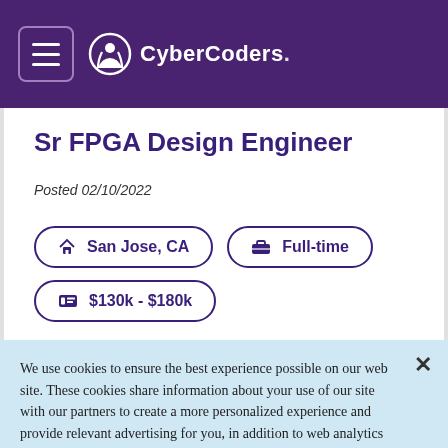CyberCoders.
Sr FPGA Design Engineer
Posted 02/10/2022
San Jose, CA
Full-time
$130k - $180k
We use cookies to ensure the best experience possible on our website. These cookies share information about your use of our site with our partners to create a more personalized experience and provide relevant advertising for you, in addition to web analytics for us. By clicking "Accept" or continuing to navigate our site, you agree to our use of cookies. For more information please see our Privacy Policy
Accept All Cookies